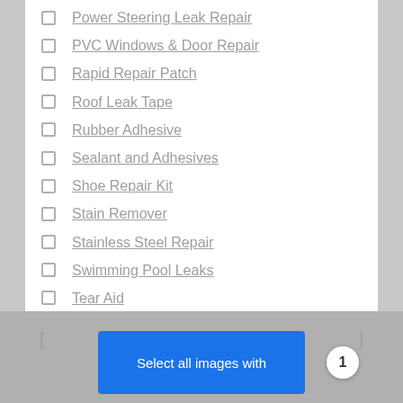Power Steering Leak Repair
PVC Windows & Door Repair
Rapid Repair Patch
Roof Leak Tape
Rubber Adhesive
Sealant and Adhesives
Shoe Repair Kit
Stain Remover
Stainless Steel Repair
Swimming Pool Leaks
Tear Aid
TearMender
[Figure (screenshot): CAPTCHA overlay at bottom of page with blue 'Select all images with' prompt box and number badge '1']